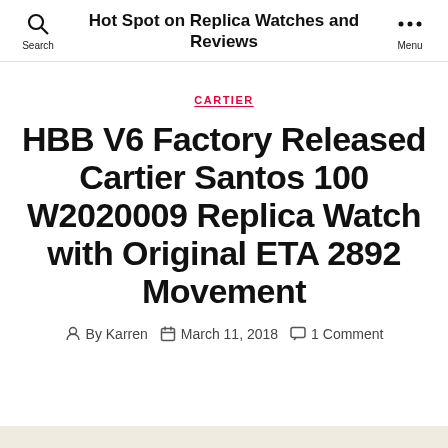Hot Spot on Replica Watches and Reviews
CARTIER
HBB V6 Factory Released Cartier Santos 100 W2020009 Replica Watch with Original ETA 2892 Movement
By Karren  March 11, 2018  1 Comment